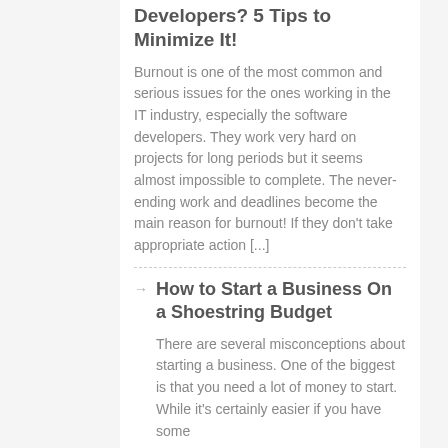Developers? 5 Tips to Minimize It!
Burnout is one of the most common and serious issues for the ones working in the IT industry, especially the software developers. They work very hard on projects for long periods but it seems almost impossible to complete. The never-ending work and deadlines become the main reason for burnout! If they don't take appropriate action [...]
How to Start a Business On a Shoestring Budget
There are several misconceptions about starting a business. One of the biggest is that you need a lot of money to start. While it's certainly easier if you have some